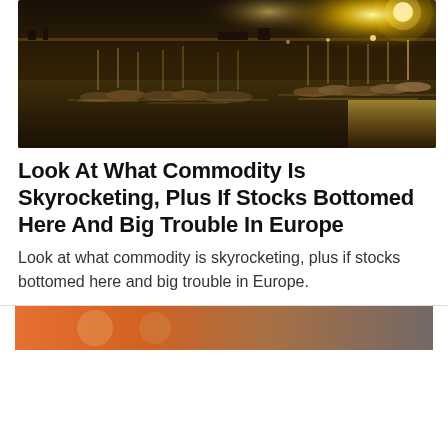[Figure (photo): Nighttime aerial view of a marina/harbor with boats docked and city lights reflecting on the water, warm golden light in the background.]
Look At What Commodity Is Skyrocketing, Plus If Stocks Bottomed Here And Big Trouble In Europe
Look at what commodity is skyrocketing, plus if stocks bottomed here and big trouble in Europe.
[Figure (photo): Partial view of another article's image at the bottom of the page (cropped).]